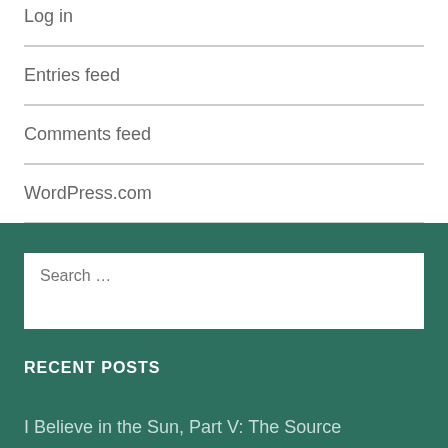Log in
Entries feed
Comments feed
WordPress.com
Search …
RECENT POSTS
I Believe in the Sun, Part V: The Source
It's been a while…
Are we all equal in the eyes of God?